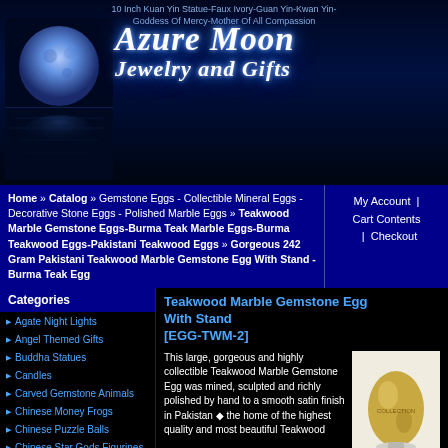10 Inch Kuan Yin Statue-Faux Ivory-Guan Yin-Kwan Yin-Goddess Of Mercy-Mother Of All Compassion
Azure Moon Jewelry and Gifts
Home » Catalog » Gemstone Eggs - Collectible Mineral Eggs - Decorative Stone Eggs - Polished Marble Eggs » Teakwood Marble Gemstone Eggs-Burma Teak Marble Eggs-Burma Teakwood Eggs-Pakistani Teakwood Eggs » Gorgeous 242 Gram Pakistani Teakwood Marble Gemstone Egg With Stand - Burma Teak Egg
My Account  |  Cart Contents  |  Checkout
Categories
Agate Night Lights
Angel Themed Gifts
Buddha Statues
Candles
Carved Gemstone Animals
Chinese Money Frogs
Chinese Puzzle Balls
Chinese Star Gods Figurines
Cinnabar Boxes
Cinnabar Jewelry
Clear Rubber Earring Backs
Crystal Balls
Teakwood Marble Gemstone Egg With Stand [EGG-TWM-2]
This large, gorgeous and highly collectible Teakwood Marble Gemstone Egg was mined, sculpted and richly polished by hand to a smooth satin finish in Pakistan the home of the highest quality and most beautiful Teakwood
[Figure (photo): Gold/brown teakwood marble gemstone egg on white stand against white background]